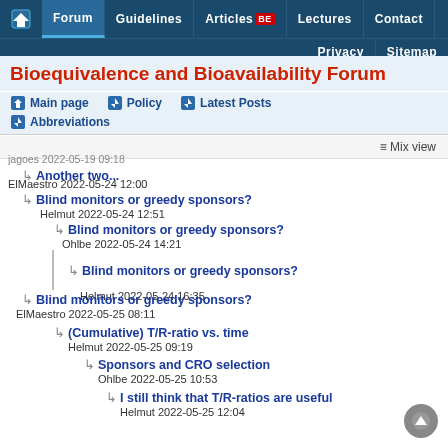Forum | Guidelines | Articles BE | Lectures | Contact | Privacy | Sitemap
Bioequivalence and Bioavailability Forum
Main page | Policy | Latest Posts | Abbreviations
≡ Mix view
jagoes 2022-05-19 09:18 ↳ Another two...
ElMaestro 2022-05-24 12:00 ↳ Blind monitors or greedy sponsors?
Helmut 2022-05-24 12:51 ↳ Blind monitors or greedy sponsors?
Ohlbe 2022-05-24 14:21 ↳ Blind monitors or greedy sponsors?
Helmut 2022-05-24 16:35
ElMaestro 2022-05-25 08:11 ↳ Blind monitors or greedy sponsors?
Helmut 2022-05-25 09:19 ↳ (Cumulative) T/R-ratio vs. time
Ohlbe 2022-05-25 10:53 ↳ Sponsors and CRO selection
Helmut 2022-05-25 12:04 ↳ I still think that T/R-ratios are useful